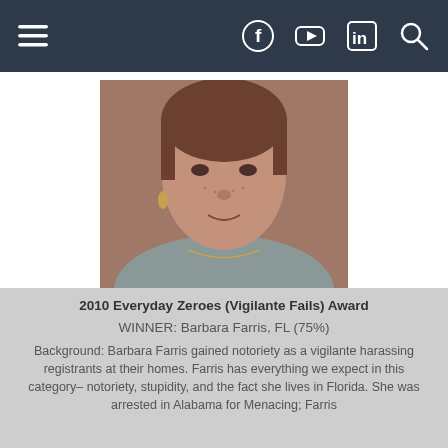Navigation bar with hamburger menu, Facebook, YouTube, LinkedIn, and Search icons
[Figure (photo): Mugshot-style photo of a woman with short pulled-back hair wearing a gray t-shirt, looking directly at camera]
2010 Everyday Zeroes (Vigilante Fails) Award
WINNER: Barbara Farris, FL (75%)
Background: Barbara Farris gained notoriety as a vigilante harassing registrants at their homes. Farris has everything we expect in this category– notoriety, stupidity, and the fact she lives in Florida. She was arrested in Alabama for Menacing; Farris